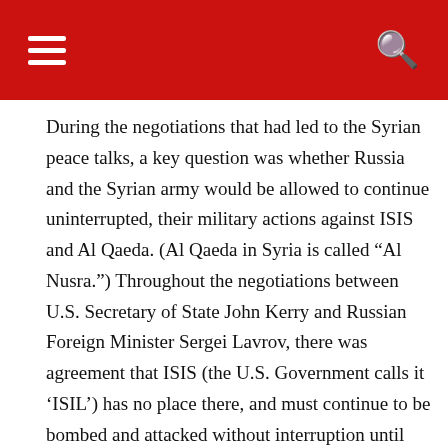During the negotiations that had led to the Syrian peace talks, a key question was whether Russia and the Syrian army would be allowed to continue uninterrupted, their military actions against ISIS and Al Qaeda. (Al Qaeda in Syria is called “Al Nusra.”) Throughout the negotiations between U.S. Secretary of State John Kerry and Russian Foreign Minister Sergei Lavrov, there was agreement that ISIS (the U.S. Government calls it ‘ISIL’) has no place there, and must continue to be bombed and attacked without interruption until exterminated there; but Kerry opposed Lavrov’s demand to include Al Nusra’s (Al Qaeda’s) forces as also having no rightful place in Syria. Kerry finally accepted that Al Nusra should have no part in ruling Syria, and thus he reluctantly acceded to Russia’s demand. This agreement by Kerry enabled the peace talks to begin.